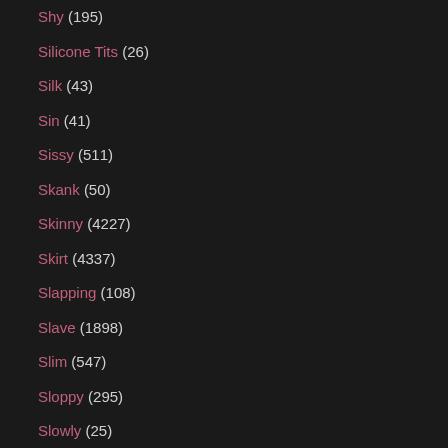Shy (195)
Silicone Tits (26)
Silk (43)
Sin (41)
Sissy (511)
Skank (50)
Skinny (4227)
Skirt (4337)
Slapping (108)
Slave (1898)
Slim (547)
Sloppy (295)
Slowly (25)
Slut (4223)
Small Cock (61)
Small Tits (7007)